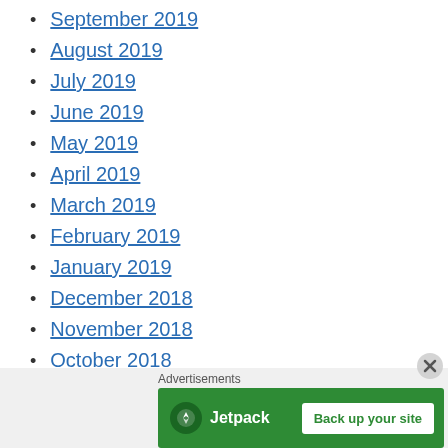September 2019
August 2019
July 2019
June 2019
May 2019
April 2019
March 2019
February 2019
January 2019
December 2018
November 2018
October 2018
September 2018
August 2018
Advertisements
[Figure (other): Jetpack advertisement banner with logo and 'Back up your site' button on green background]